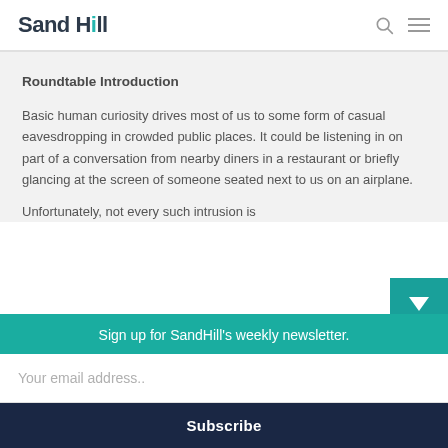Sand Hill
Roundtable Introduction
Basic human curiosity drives most of us to some form of casual eavesdropping in crowded public places. It could be listening in on part of a conversation from nearby diners in a restaurant or briefly glancing at the screen of someone seated next to us on an airplane.
Unfortunately, not every such intrusion is
Sign up for SandHill's weekly newsletter.
Your email address..
Subscribe